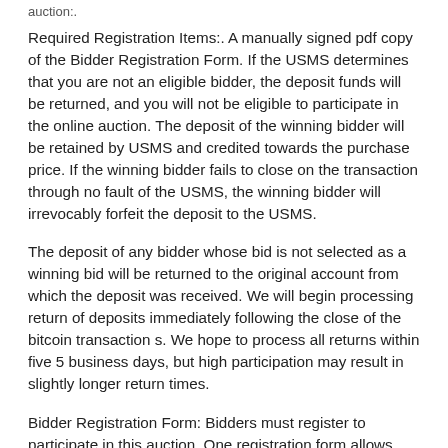auction:.
Required Registration Items:. A manually signed pdf copy of the Bidder Registration Form. If the USMS determines that you are not an eligible bidder, the deposit funds will be returned, and you will not be eligible to participate in the online auction. The deposit of the winning bidder will be retained by USMS and credited towards the purchase price. If the winning bidder fails to close on the transaction through no fault of the USMS, the winning bidder will irrevocably forfeit the deposit to the USMS.
The deposit of any bidder whose bid is not selected as a winning bid will be returned to the original account from which the deposit was received. We will begin processing return of deposits immediately following the close of the bitcoin transaction s. We hope to process all returns within five 5 business days, but high participation may result in slightly longer return times.
Bidder Registration Form: Bidders must register to participate in this auction. One registration form allows you to bid on multiple blocks from Series A, Series B, Series C and Series D at the same per bitcoin price, but does not allow you to submit multiple bids at varying per-bitcoin prices.